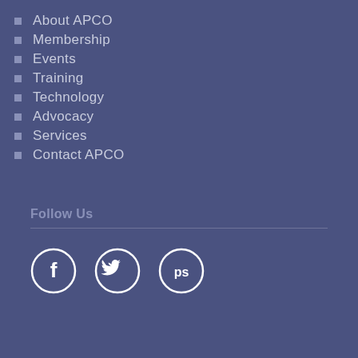About APCO
Membership
Events
Training
Technology
Advocacy
Services
Contact APCO
Follow Us
[Figure (illustration): Three circular social media icons: Facebook (f), Twitter (bird), and a PS icon, rendered in white on the blue background]